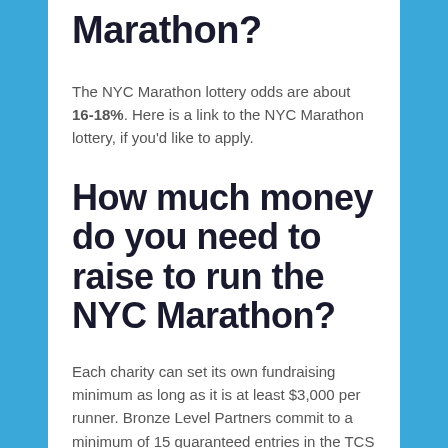Marathon?
The NYC Marathon lottery odds are about 16-18%. Here is a link to the NYC Marathon lottery, if you'd like to apply.
How much money do you need to raise to run the NYC Marathon?
Each charity can set its own fundraising minimum as long as it is at least $3,000 per runner. Bronze Level Partners commit to a minimum of 15 guaranteed entries in the TCS New York City Marathon.